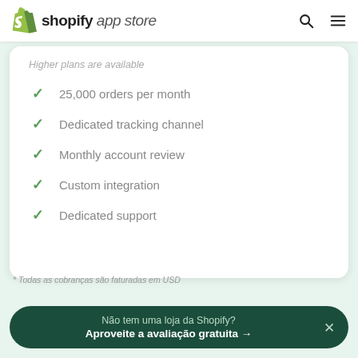shopify app store
Higher plans are available
25,000 orders per month
Dedicated tracking channel
Monthly account review
Custom integration
Dedicated support
* Todas as cobranças são faturadas em USD
Não tem uma loja da Shopify?
Aproveite a avaliação gratuita →